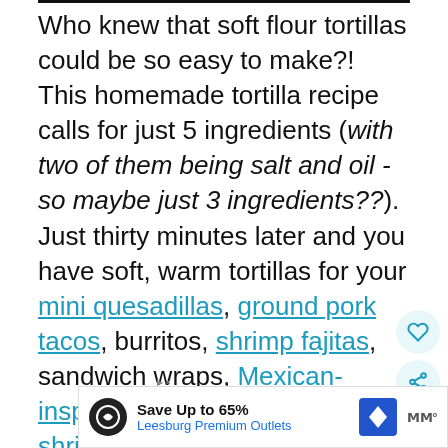Who knew that soft flour tortillas could be so easy to make?! This homemade tortilla recipe calls for just 5 ingredients (with two of them being salt and oil - so maybe just 3 ingredients??). Just thirty minutes later and you have soft, warm tortillas for your mini quesadillas, ground pork tacos, burritos, shrimp fajitas, sandwich wraps, Mexican-inspired casseroles, hot honey shrimp tacos, or snacking. They're also for baked tacos because they hold up w...
[Figure (other): Heart (favorite) button and share button as circular icons on the right side]
[Figure (other): What's Next widget showing Tortilla Egg Roll Breakfa... with a thumbnail of a bowl of food]
[Figure (other): Advertisement banner: Save Up to 65% Leesburg Premium Outlets with Infinity logo and navigation/map icon]